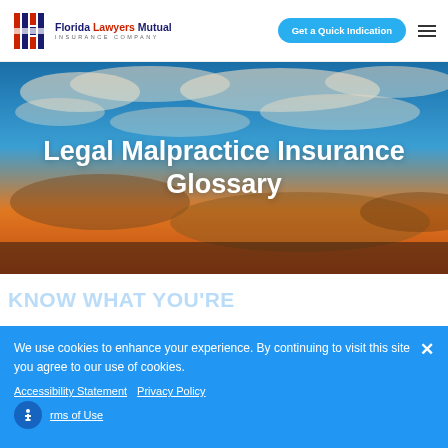[Figure (logo): Florida Lawyers Mutual Insurance Company logo with FLM icon and text]
Get a Quick Indication
[Figure (photo): Hero background photo of sunset sky with clouds, orange and blue tones]
Legal Malpractice Insurance Glossary
We use cookies to enhance your experience. By continuing to visit this site you agree to our use of cookies.
Accessibility Statement  Privacy Policy  Terms of Use